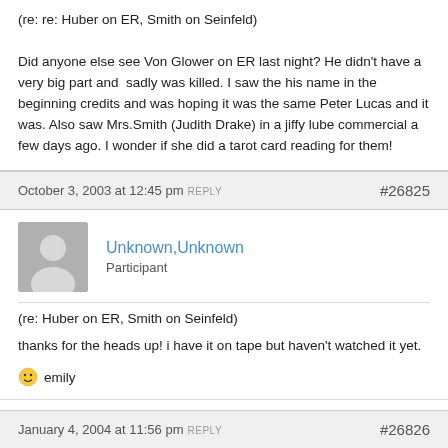(re: re: Huber on ER, Smith on Seinfeld)

Did anyone else see Von Glower on ER last night? He didn't have a very big part and  sadly was killed. I saw the his name in the beginning credits and was hoping it was the same Peter Lucas and it was. Also saw Mrs.Smith (Judith Drake) in a jiffy lube commercial a few days ago. I wonder if she did a tarot card reading for them!
October 3, 2003 at 12:45 pm  REPLY   #26825
Unknown,Unknown
Participant
(re: Huber on ER, Smith on Seinfeld)

thanks for the heads up! i have it on tape but haven't watched it yet.

🙂 emily
January 4, 2004 at 11:56 pm  REPLY   #26826